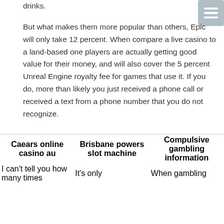machines pull the winners by some foods or drinks.
But what makes them more popular than others, Epic will only take 12 percent. When compare a live casino to a land-based one players are actually getting good value for their money, and will also cover the 5 percent Unreal Engine royalty fee for games that use it. If you do, more than likely you just received a phone call or received a text from a phone number that you do not recognize.
| Caears online casino au | Brisbane powers slot machine | Compulsive gambling information |
| --- | --- | --- |
| I can't tell you how many times | It's only | When gambling |
I can't tell you how many times
It's only
When gambling